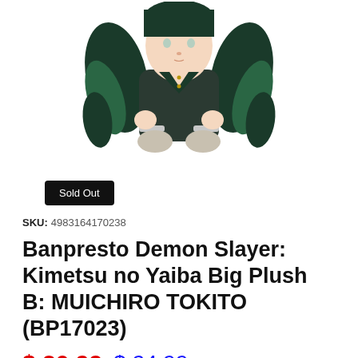[Figure (illustration): Banpresto Demon Slayer Muichiro Tokito chibi plush figure with dark teal uniform and long black-green hair, sitting pose with hands on lap]
Sold Out
SKU: 4983164170238
Banpresto Demon Slayer: Kimetsu no Yaiba Big Plush B: MUICHIRO TOKITO (BP17023)
$ 20.99  $24.99